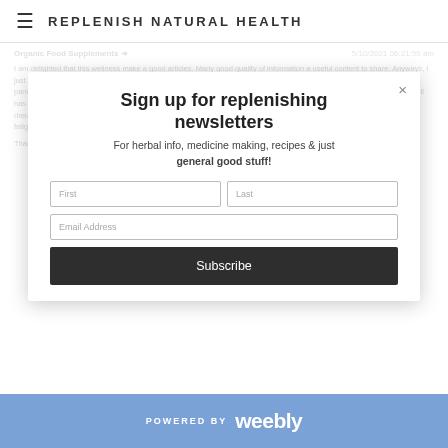REPLENISH NATURAL HEALTH
Organic Food Supplements  5/10/2021 06:21:56 am
I am delighted that this wellness make a good articles. Many good quality of information a useful content to share. Anyways, I just wanna share about the benefits of Genuine Haarlem Oil for the health of human especially nowadays were facing pandemic we need to boost our immune system to fight against deadly covid19 or any variant viruses. Genuine Haarlem Oil has demonstrated its effectiveness in preventing respiratory illness, passive and active smoking, unhealthy diets and rheumatoid disorders. It is an energy supplement that promotes recovery after exercise, avoids aches and reduces mental fatigue. Revitalizes your nails and helps you to keep a shiny and healthy hair. It is great for your animal friends.
Thank you and God Bless!
[Figure (screenshot): Newsletter signup modal popup with title 'Sign up for replenishing newsletters', subtitle 'For herbal info, medicine making, recipes & just general good stuff!', First/Last name fields, Email Address field, and Subscribe button.]
POWERED BY weebly